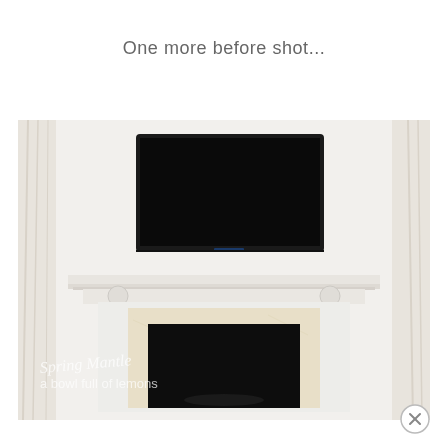One more before shot...
[Figure (photo): Interior photo showing a white fireplace with a black flat-screen TV mounted on the wall above the mantle. The fireplace has a cream/beige marble surround with a black firebox opening. White curtains are visible on either side. A watermark reads 'Spring Mantle a bowl full of lemons' in white script text on the lower left of the image.]
[Figure (other): A circular close/dismiss button (X icon) in the bottom right corner of the page.]